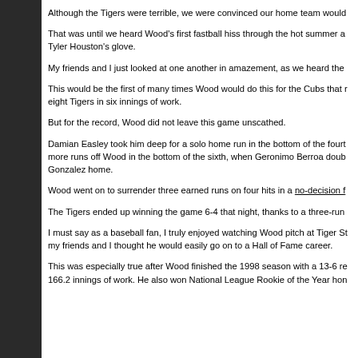Although the Tigers were terrible, we were convinced our home team would
That was until we heard Wood's first fastball hiss through the hot summer a Tyler Houston's glove.
My friends and I just looked at one another in amazement, as we heard the
This would be the first of many times Wood would do this for the Cubs that eight Tigers in six innings of work.
But for the record, Wood did not leave this game unscathed.
Damian Easley took him deep for a solo home run in the bottom of the fourt more runs off Wood in the bottom of the sixth, when Geronimo Berroa doub Gonzalez home.
Wood went on to surrender three earned runs on four hits in a no-decision f
The Tigers ended up winning the game 6-4 that night, thanks to a three-run
I must say as a baseball fan, I truly enjoyed watching Wood pitch at Tiger S my friends and I thought he would easily go on to a Hall of Fame career.
This was especially true after Wood finished the 1998 season with a 13-6 re 166.2 innings of work. He also won National League Rookie of the Year hon